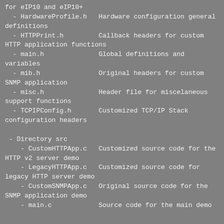for eIP10 and eIP10+
- HardwareProfile.h   Hardware configuration general definitions
- HTTPPrint.h         Callback headers for custom HTTP application functions
- main.h              Global definitions and variables
- mib.h               Original headers for custom SNMP application
- misc.h              Header file for miscelaneous support functions
- TCPIPConfig.h       Customized TCP/IP Stack configuration headers
- Directory src
- CustomHTTPApp.c   Customized source code for the HTTP v2 server demo
- LegacyHTTPApp.c   Customized source code for legacy HTTP server demo
- CustomSNMPApp.c   Original source code for the SNMP application demo
- main.c            Source code for the main demo